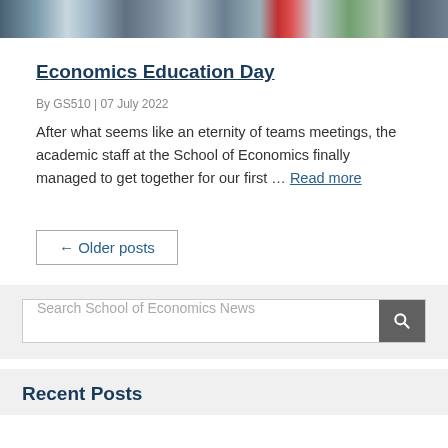[Figure (photo): Group photo of academic staff at the School of Economics, cropped at top]
Economics Education Day
By GS510 | 07 July 2022
After what seems like an eternity of teams meetings, the academic staff at the School of Economics finally managed to get together for our first … Read more
← Older posts
Search School of Economics News
Recent Posts